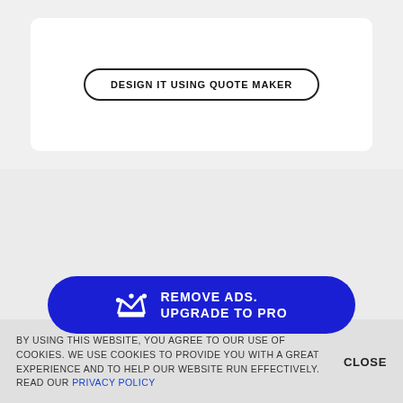[Figure (screenshot): White card area with 'DESIGN IT USING QUOTE MAKER' button inside a rounded border]
DESIGN IT USING QUOTE MAKER
Quotes By Topics
[Figure (infographic): Blue pill-shaped banner with crown icon and text 'REMOVE ADS. UPGRADE TO PRO']
Life   Love   Success   Happiness
BY USING THIS WEBSITE, YOU AGREE TO OUR USE OF COOKIES. WE USE COOKIES TO PROVIDE YOU WITH A GREAT EXPERIENCE AND TO HELP OUR WEBSITE RUN EFFECTIVELY. READ OUR PRIVACY POLICY
CLOSE